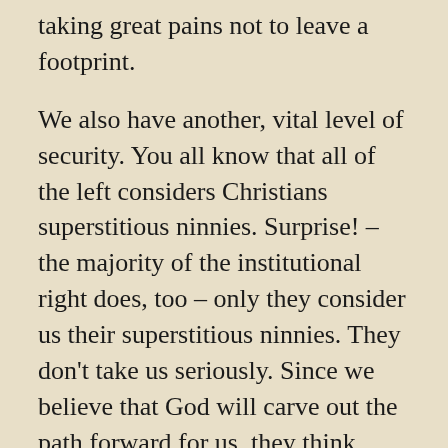taking great pains not to leave a footprint.
We also have another, vital level of security. You all know that all of the left considers Christians superstitious ninnies. Surprise! – the majority of the institutional right does, too – only they consider us their superstitious ninnies. They don't take us seriously. Since we believe that God will carve out the path forward for us, they think there is no real power or threat there. If there is no God, they are right and we will be overwhelmed. But God IS – and has power they know nothing of. I am terrified that if I take some extraordinary means of human protection, I will forfeit the divine protection I rely on. Do not think that I think this